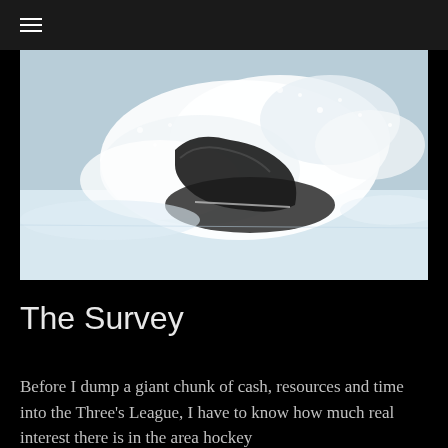≡
[Figure (photo): Close-up photograph of an ice skate blade cutting through ice, spraying snow and ice chips, with a cold blue-white snowy background.]
The Survey
Before I dump a giant chunk of cash, resources and time into the Three's League, I have to know how much real interest there is in the area hockey